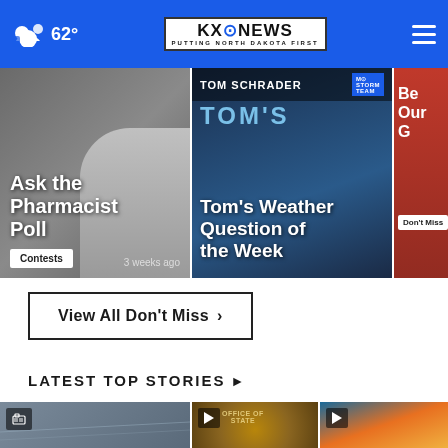☁ 62° | KXO NEWS - PUTTING NORTH DAKOTA FIRST
[Figure (screenshot): Card 1: Ask the Pharmacist Poll - Contests badge, 3 weeks ago]
[Figure (screenshot): Card 2: Tom's Weather Question of the Week - Tom Schrader, Storm Team]
[Figure (screenshot): Card 3 (partial): Be Our G... - Don't Miss badge]
View All Don't Miss ›
LATEST TOP STORIES ›
[Figure (photo): Story card 1: Gallery image of overcast/stormy sky scene]
[Figure (photo): Story card 2: Video - Office of State... seal/logo building]
[Figure (photo): Story card 3: Video - sunset/colorful sky scene]